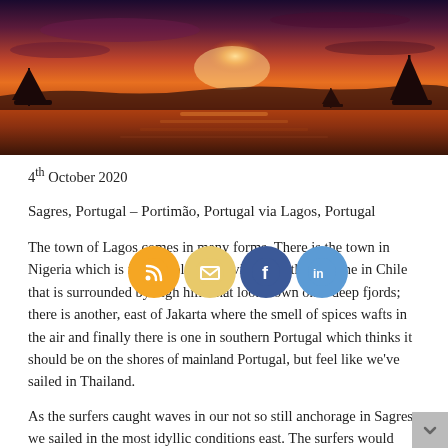[Figure (photo): Sunset over water with sailboats silhouetted against an orange and purple sky]
4th October 2020
Sagres, Portugal – Portimão, Portugal via Lagos, Portugal
The town of Lagos comes in many forms. There is the town in Nigeria which is full of colour and vibrancy; there is one in Chile that is surrounded by high hills that look down onto deep fjords; there is another, east of Jakarta where the smell of spices wafts in the air and finally there is one in southern Portugal which thinks it should be on the shores of mainland Portugal, but feel like we've sailed in Thailand.
[Figure (other): Social sharing icons: RSS feed, Email, Facebook, LinkedIn]
As the surfers caught waves in our not so still anchorage in Sagres we sailed in the most idyllic conditions east. The surfers would have been disappointed as we rounded the headland as the sea was board flat, with the only waves being created by our bow slicing through the water. This however was not stress-